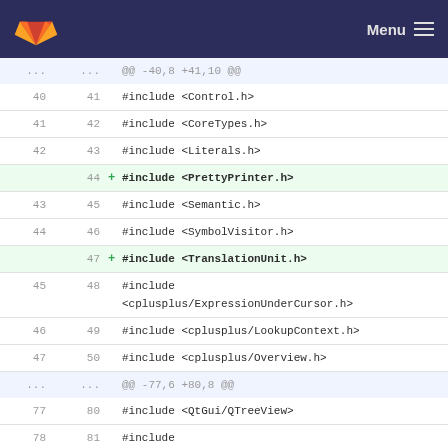GitLab Menu
[Figure (screenshot): GitLab code diff view showing added #include lines for PrettyPrinter.h, TranslationUnit.h, sstream, and blank line additions in a C++ source file]
@@ -40,8 +41,10 @@
40 41 #include <Control.h>
41 42 #include <CoreTypes.h>
42 43 #include <Literals.h>
   44 + #include <PrettyPrinter.h>
43 45 #include <Semantic.h>
44 46 #include <SymbolVisitor.h>
   47 + #include <TranslationUnit.h>
45 48 #include <cplusplus/ExpressionUnderCursor.h>
46 49 #include <cplusplus/LookupContext.h>
47 50 #include <cplusplus/Overview.h>
@@ -77,6 +80,8 @@
77 80 #include <QtGui/QTreeView>
78 81 #include <QtGui/QSortFilterProxyModel>
79 82
   83 + #include <sstream>
   84 +
80 85 using namespace CPlusPlus;